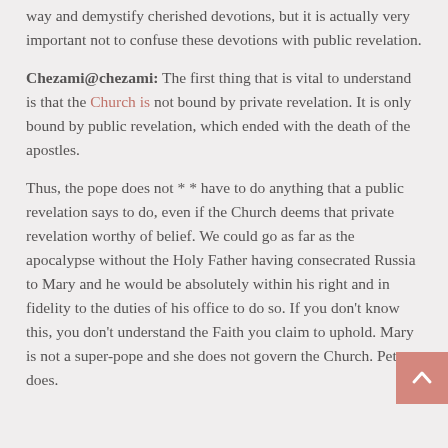way and demystify cherished devotions, but it is actually very important not to confuse these devotions with public revelation.
Chezami@chezami: The first thing that is vital to understand is that the Church is not bound by private revelation. It is only bound by public revelation, which ended with the death of the apostles.
Thus, the pope does not * * have to do anything that a public revelation says to do, even if the Church deems that private revelation worthy of belief. We could go as far as the apocalypse without the Holy Father having consecrated Russia to Mary and he would be absolutely within his right and in fidelity to the duties of his office to do so. If you don't know this, you don't understand the Faith you claim to uphold. Mary is not a super-pope and she does not govern the Church. Peter does.